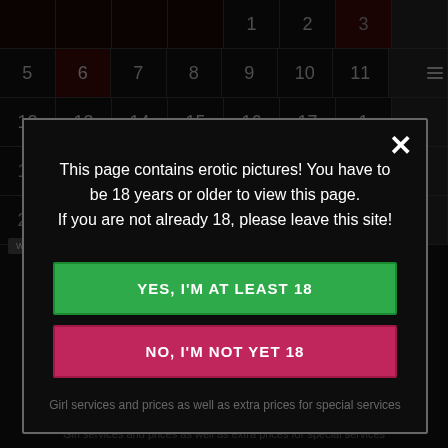[Figure (screenshot): Calendar grid background with dark red and dark cells showing dates 1-11, 12-25, 19-30 across multiple rows]
This page contains erotic pictures! You have to be 18 years or older to view this page.
If you are not already 18, please leave this site!
YES, I'M AT LEAST 18
NO, I'M NOT YET 18
Girl services and prices as well as extra prices for special services